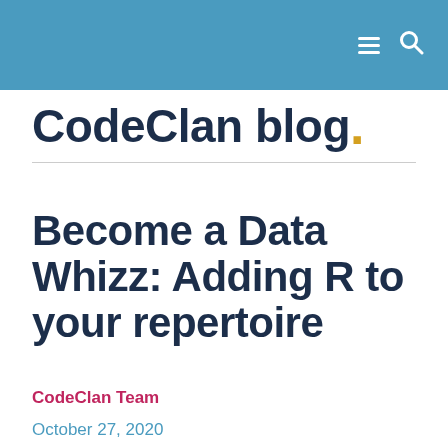CodeClan blog.
Become a Data Whizz: Adding R to your repertoire
CodeClan Team
October 27, 2020